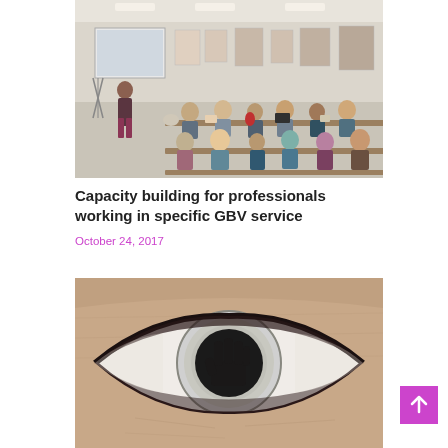[Figure (photo): A woman presenter stands at the front of a room with a projector screen and posters on the wall, while a group of professionals seated at tables listen attentively during a training or workshop session.]
Capacity building for professionals working in specific GBV service
October 24, 2017
[Figure (photo): A close-up photograph of a human eye with the iris reflecting a dark silhouette of a raised hand, symbolizing gender-based violence awareness.]